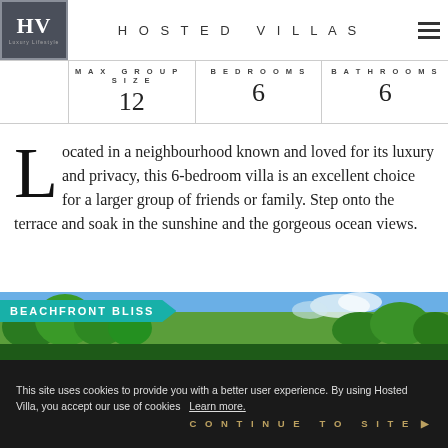HOSTED VILLAS
| MAX GROUP SIZE | BEDROOMS | BATHROOMS |
| --- | --- | --- |
| 12 | 6 | 6 |
Located in a neighbourhood known and loved for its luxury and privacy, this 6-bedroom villa is an excellent choice for a larger group of friends or family. Step onto the terrace and soak in the sunshine and the gorgeous ocean views.
[Figure (photo): Beachfront Bliss - outdoor photo showing trees and blue sky]
BEACHFRONT BLISS
This site uses cookies to provide you with a better user experience. By using Hosted Villa, you accept our use of cookies  Learn more.
CONTINUE TO SITE ▶